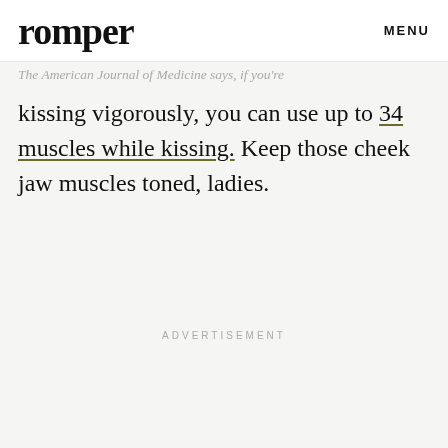romper   MENU
The American Journal of Medicine says, if you're
kissing vigorously, you can use up to 34 muscles while kissing. Keep those cheek jaw muscles toned, ladies.
ADVERTISEMENT